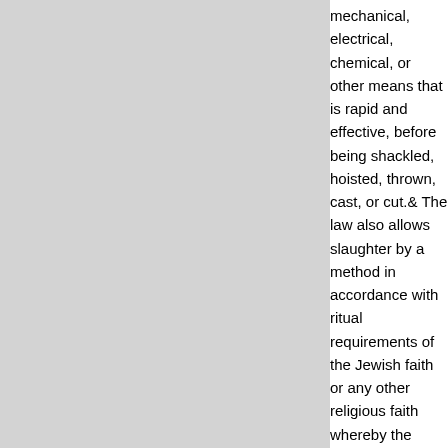mechanical, electrical, chemical, or other means that is rapid and effective, before being shackled, hoisted, thrown, cast, or cut.& The law also allows slaughter by a method in accordance with ritual requirements of the Jewish faith or any other religious faith whereby the animal suffers loss of consciousness by anemia of the brain. Any person who violates any provision of this act is guilty of a misdemeanor.